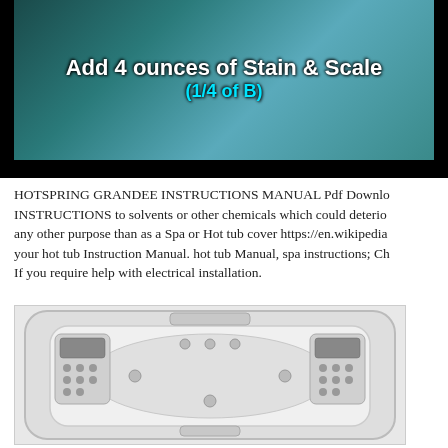[Figure (screenshot): Video screenshot showing a hot tub/spa with overlay text: 'Add 4 ounces of Stain & Scale (1/4 of B)' in white and cyan bold text on a dark aqua background.]
HOTSPRING GRANDEE INSTRUCTIONS MANUAL Pdf Download. INSTRUCTIONS to solvents or other chemicals which could deterio any other purpose than as a Spa or Hot tub cover https://en.wikipedia your hot tub Instruction Manual. hot tub Manual, spa instructions; Ch If you require help with electrical installation.
[Figure (photo): Aerial/top-down view of a white hot tub (Hotspring Grandee) showing jets, controls, and seating areas from above.]